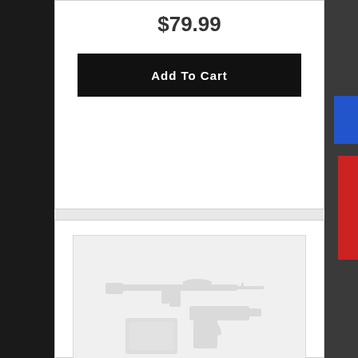$79.99
Add To Cart
[Figure (illustration): Placeholder product image showing silhouettes of firearms (rifle and handgun) in light gray on a light background]
CLD DEF TORRENT M-LOK OFFSET MNT FDE
Cloud Defensive
$61.99